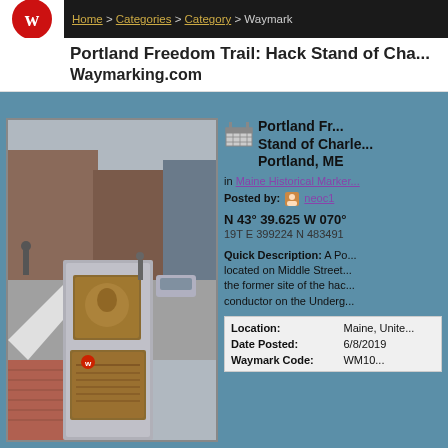Home > Categories > Category > Waymark
Portland Freedom Trail: Hack Stand of Cha... Waymarking.com
[Figure (photo): Photograph of a granite monument with two bronze plaques on a street corner, with buildings and pedestrians in the background. The monument appears to be part of the Portland Freedom Trail.]
Portland Fr... Stand of Charle... Portland, ME
in Maine Historical Marker...
Posted by: neoc1
N 43° 39.625 W 070°
19T E 399224 N 483491
Quick Description: A Po... located on Middle Street... the former site of the hac... conductor on the Underg...
| Field | Value |
| --- | --- |
| Location: | Maine, Unite... |
| Date Posted: | 6/8/2019 |
| Waymark Code: | WM10... |